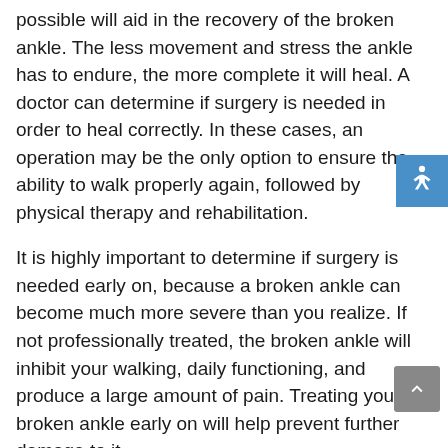possible will aid in the recovery of the broken ankle. The less movement and stress the ankle has to endure, the more complete it will heal. A doctor can determine if surgery is needed in order to heal correctly. In these cases, an operation may be the only option to ensure the ability to walk properly again, followed by physical therapy and rehabilitation.
It is highly important to determine if surgery is needed early on, because a broken ankle can become much more severe than you realize. If not professionally treated, the broken ankle will inhibit your walking, daily functioning, and produce a large amount of pain. Treating your broken ankle early on will help prevent further damage to it.
[Figure (other): Blue accessibility (wheelchair) icon button in top-right corner]
[Figure (other): Gray scroll-to-top arrow button in bottom-right corner]